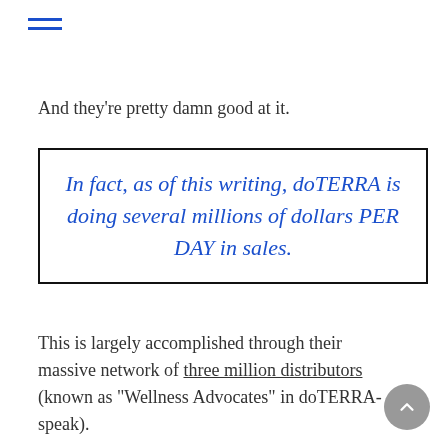≡ (hamburger menu icon)
And they’re pretty damn good at it.
In fact, as of this writing, doTERRA is doing several millions of dollars PER DAY in sales.
This is largely accomplished through their massive network of three million distributors (known as “Wellness Advocates” in doTERRA-speak).